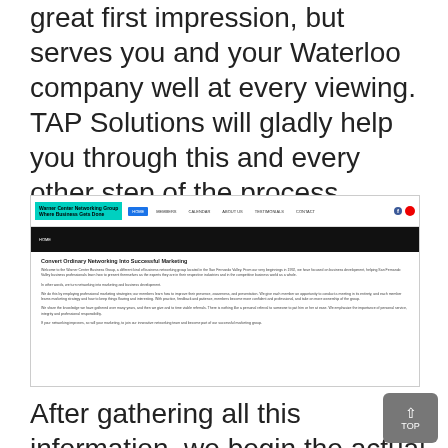great first impression, but serves you and your Waterloo company well at every viewing. TAP Solutions will gladly help you through this and every other step of the process.
[Figure (screenshot): Screenshot of Warner Center Networking Group website showing navigation bar with logo, menu links (Home, Members, Calendar, About Us, Testimonials, Contact), a dark hero banner, and body text sections about converting networking into successful marketing.]
After gathering all this information, we begin the actual website development. We create various custom-made